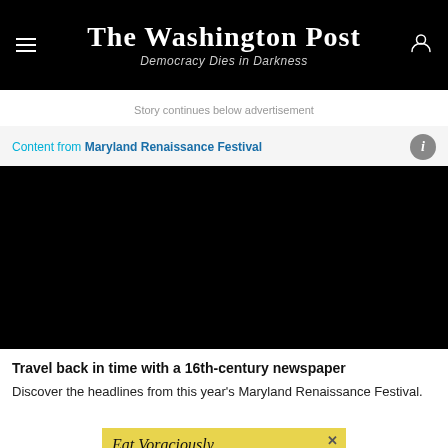The Washington Post — Democracy Dies in Darkness
Story continues below advertisement
Content from Maryland Renaissance Festival
[Figure (photo): Black image placeholder for sponsored video content from Maryland Renaissance Festival]
Travel back in time with a 16th-century newspaper
Discover the headlines from this year's Maryland Renaissance Festival.
[Figure (other): Eat Voraciously newsletter advertisement banner with yellow background. Text: 'Sign up for the newsletter'. Subtext: 'Get one quick recipe in your inbox every Monday through Thursday.']